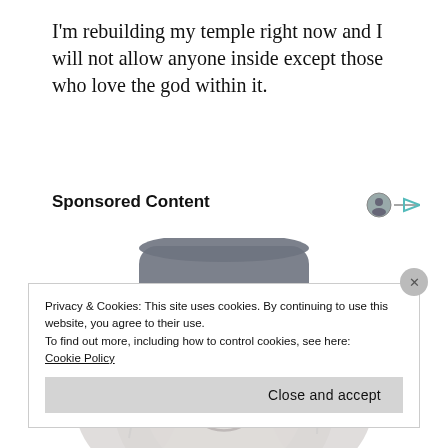I'm rebuilding my temple right now and I will not allow anyone inside except those who love the god within it.
Sponsored Content
[Figure (illustration): A faded/ghosted illustration of an elderly man with long white hair wearing a large dark cowboy hat, smiling, shown from the shoulders up.]
Privacy & Cookies: This site uses cookies. By continuing to use this website, you agree to their use.
To find out more, including how to control cookies, see here:
Cookie Policy
Close and accept